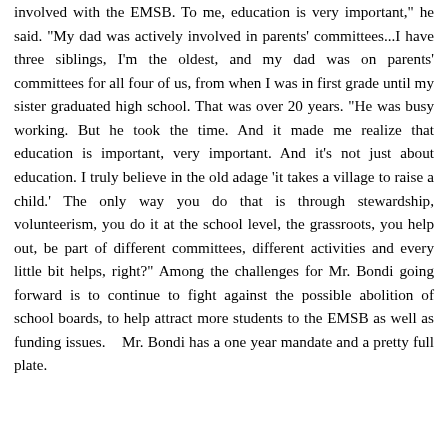involved with the EMSB. To me, education is very important," he said. "My dad was actively involved in parents' committees...I have three siblings, I'm the oldest, and my dad was on parents' committees for all four of us, from when I was in first grade until my sister graduated high school. That was over 20 years. "He was busy working. But he took the time. And it made me realize that education is important, very important. And it's not just about education. I truly believe in the old adage 'it takes a village to raise a child.' The only way you do that is through stewardship, volunteerism, you do it at the school level, the grassroots, you help out, be part of different committees, different activities and every little bit helps, right?" Among the challenges for Mr. Bondi going forward is to continue to fight against the possible abolition of school boards, to help attract more students to the EMSB as well as funding issues.    Mr. Bondi has a one year mandate and a pretty full plate.